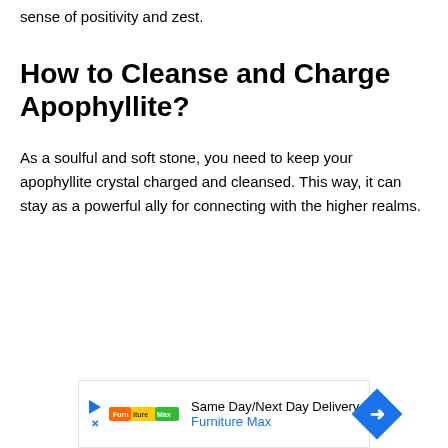sense of positivity and zest.
How to Cleanse and Charge Apophyllite?
As a soulful and soft stone, you need to keep your apophyllite crystal charged and cleansed. This way, it can stay as a powerful ally for connecting with the higher realms.
[Figure (other): Advertisement banner for Furniture Max featuring Same Day/Next Day Delivery with a blue diamond arrow icon and colorful logo strip]